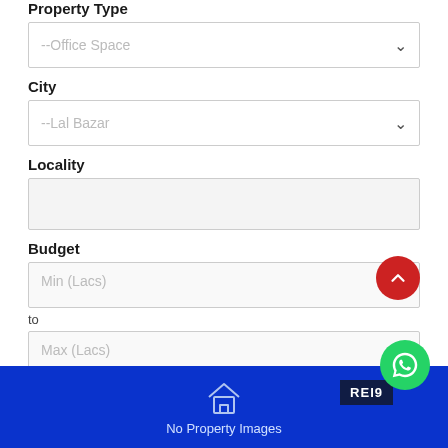Property Type
--Office Space
City
--Lal Bazar
Locality
Budget
Min (Lacs)
to
Max (Lacs)
SEARCH
No Property Images Available